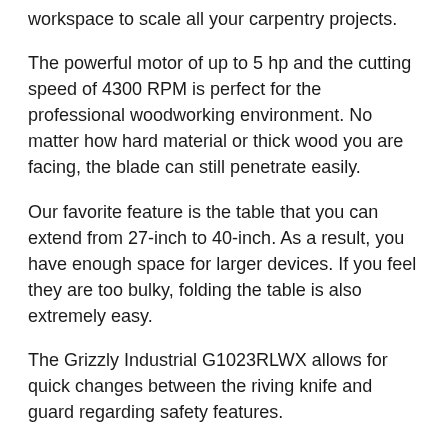workspace to scale all your carpentry projects.
The powerful motor of up to 5 hp and the cutting speed of 4300 RPM is perfect for the professional woodworking environment. No matter how hard material or thick wood you are facing, the blade can still penetrate easily.
Our favorite feature is the table that you can extend from 27-inch to 40-inch. As a result, you have enough space for larger devices. If you feel they are too bulky, folding the table is also extremely easy.
The Grizzly Industrial G1023RLWX allows for quick changes between the riving knife and guard regarding safety features.
Using this cabinet table saw is much easier than with a regular router table or a handheld router. It also allows you to make straight dado cuts with the laser without wasting